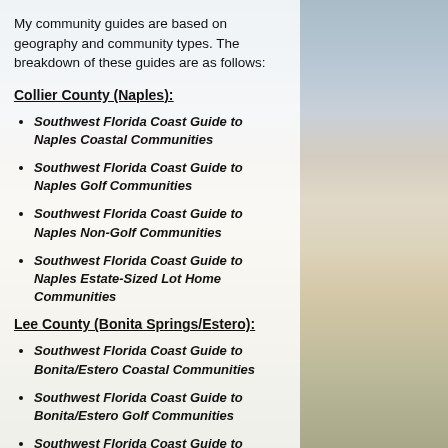My community guides are based on geography and community types. The breakdown of these guides are as follows:
Collier County (Naples):
Southwest Florida Coast Guide to Naples Coastal Communities
Southwest Florida Coast Guide to Naples Golf Communities
Southwest Florida Coast Guide to Naples Non-Golf Communities
Southwest Florida Coast Guide to Naples Estate-Sized Lot Home Communities
Lee County (Bonita Springs/Estero):
Southwest Florida Coast Guide to Bonita/Estero Coastal Communities
Southwest Florida Coast Guide to Bonita/Estero Golf Communities
Southwest Florida Coast Guide to